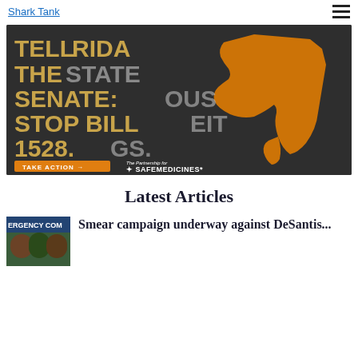Shark Tank
[Figure (infographic): Advertisement for The Partnership for Safe Medicines showing Florida state silhouette in orange on dark background with text: TELL FLORIDA THE STATE SENATE: STOP BILL 1528. TAKE ACTION button and logo at bottom.]
Latest Articles
[Figure (photo): Photo of people at what appears to be an emergency communications event with text partially visible reading ERGENCY COM]
Smear campaign underway against DeSantis...